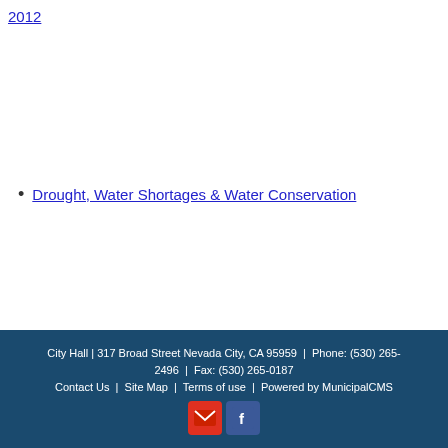2012
Drought, Water Shortages & Water Conservation
City Hall | 317 Broad Street Nevada City, CA 95959 | Phone: (530) 265-2496 | Fax: (530) 265-0187
Contact Us | Site Map | Terms of use | Powered by MunicipalCMS